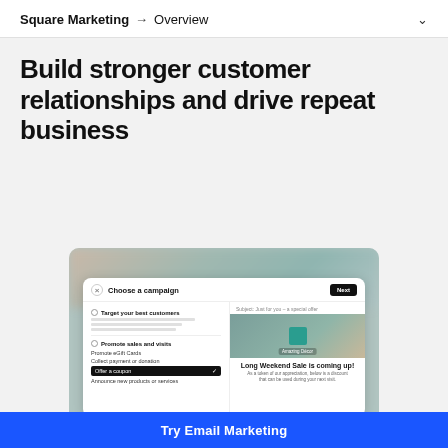Square Marketing → Overview
Build stronger customer relationships and drive repeat business
[Figure (screenshot): Screenshot of Square Marketing campaign chooser interface showing 'Choose a campaign' modal with options including 'Target your best customers' and 'Promote sales and visits', with an email preview showing 'Long Weekend Sale is coming up!']
Try Email Marketing